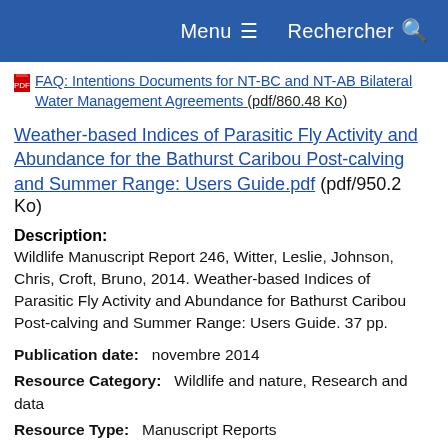Menu  Rechercher
FAQ: Intentions Documents for NT-BC and NT-AB Bilateral Water Management Agreements (pdf/860.48 Ko)
Weather-based Indices of Parasitic Fly Activity and Abundance for the Bathurst Caribou Post-calving and Summer Range: Users Guide.pdf (pdf/950.2 Ko)
Description: Wildlife Manuscript Report 246, Witter, Leslie, Johnson, Chris, Croft, Bruno, 2014. Weather-based Indices of Parasitic Fly Activity and Abundance for Bathurst Caribou Post-calving and Summer Range: Users Guide. 37 pp.
Publication date:   novembre 2014
Resource Category:   Wildlife and nature, Research and data
Resource Type:   Manuscript Reports